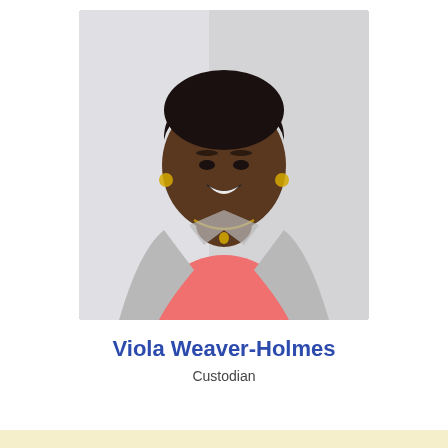[Figure (photo): Professional headshot of Viola Weaver-Holmes, a smiling woman wearing a salmon/coral top and light gray open jacket with gold necklace and earrings, against a light gray background.]
Viola Weaver-Holmes
Custodian